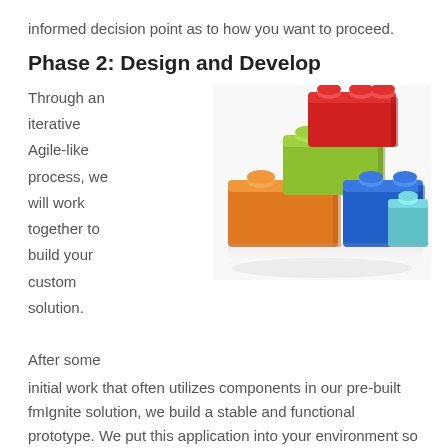informed decision point as to how you want to proceed.
Phase 2: Design and Develop
Through an iterative Agile-like process, we will work together to build your custom solution.
[Figure (photo): Stack of colorful LEGO bricks arranged in a pyramid-like formation: orange bricks at the base, green and blue bricks in the middle, and a red brick on top, against a white background.]
After some initial work that often utilizes components in our pre-built fmIgnite solution, we build a stable and functional prototype. We put this application into your environment so we can test it, refine capabilities, and enhance in stages.